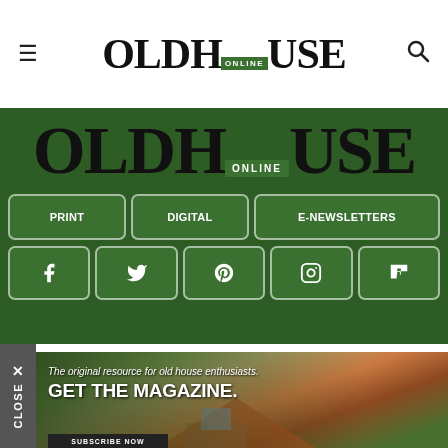OLD HOUSE ONLINE — navigation bar with hamburger menu and search icon
[Figure (logo): Old House Online logo in large serif font on green background with ONLINE badge]
[Figure (infographic): Green navigation buttons: PRINT, DIGITAL, E-NEWSLETTERS]
[Figure (infographic): Social media icon buttons: Facebook, Twitter, Pinterest, Instagram, Flipboard]
[Figure (photo): Old house roof advertisement banner with text: The original resource for old house enthusiasts. GET THE MAGAZINE.]
CLOSE ×